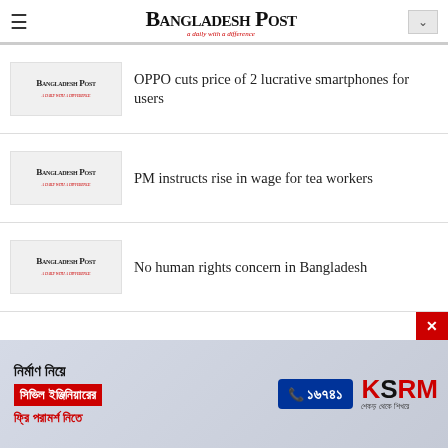Bangladesh Post — a daily with a difference
[Figure (logo): Bangladesh Post thumbnail logo for OPPO article]
OPPO cuts price of 2 lucrative smartphones for users
[Figure (logo): Bangladesh Post thumbnail logo for PM wage article]
PM instructs rise in wage for tea workers
[Figure (logo): Bangladesh Post thumbnail logo for human rights article]
No human rights concern in Bangladesh
[Figure (infographic): KSRM advertisement banner in Bengali: নির্মাণ নিয়ে সিভিল ইঞ্জিনিয়ারের ফ্রি পরামর্শ নিতে ১৬৭৪১]